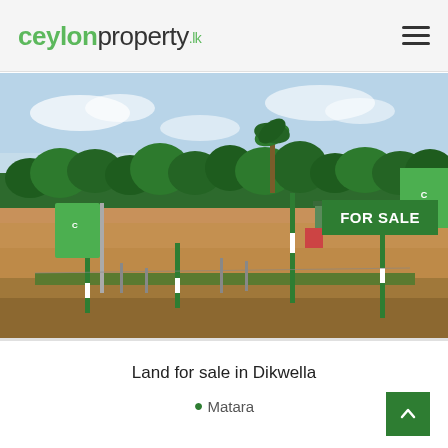ceylonproperty.lk
[Figure (photo): Aerial view of a land plot for sale in Dikwella, Sri Lanka. Cleared sandy/clay-colored flat land with green boundary marker poles, a lush green tree line in the background, and promotional banners. A 'FOR SALE' badge appears in the top right corner of the image.]
Land for sale in Dikwella
Matara